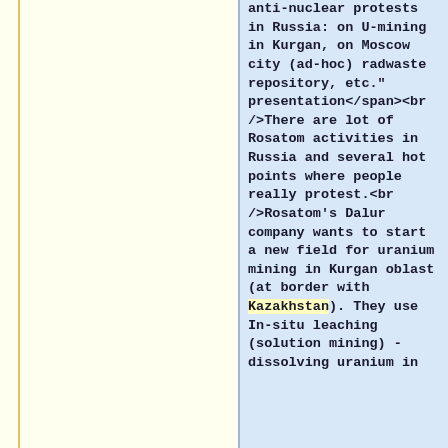anti-nuclear protests in Russia: on U-mining in Kurgan, on Moscow city (ad-hoc) radwaste repository, etc." presentation</span><br />There are lot of Rosatom activities in Russia and several hot points where people really protest.<br />Rosatom's Dalur company wants to start a new field for uranium mining in Kurgan oblast (at border with Kazakhstan). They use In-situ leaching (solution mining) - dissolving uranium in